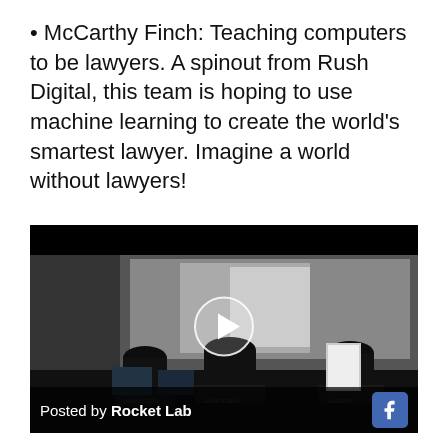McCarthy Finch: Teaching computers to be lawyers. A spinout from Rush Digital, this team is hoping to use machine learning to create the world's smartest lawyer. Imagine a world without lawyers!
[Figure (screenshot): A video thumbnail showing people from behind sitting at computer workstations in a dark room facing screens, with a play button overlay. Bottom bar reads 'Posted by Rocket Lab' with a Facebook icon.]